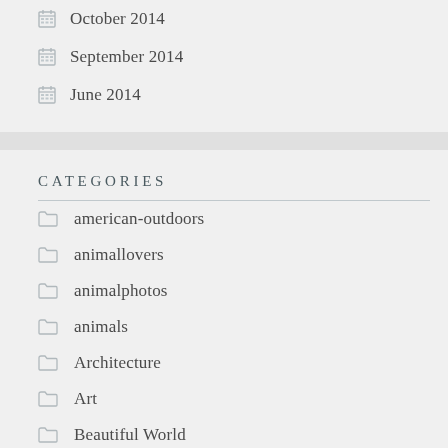October 2014
September 2014
June 2014
CATEGORIES
american-outdoors
animallovers
animalphotos
animals
Architecture
Art
Beautiful World
Black-White Photos